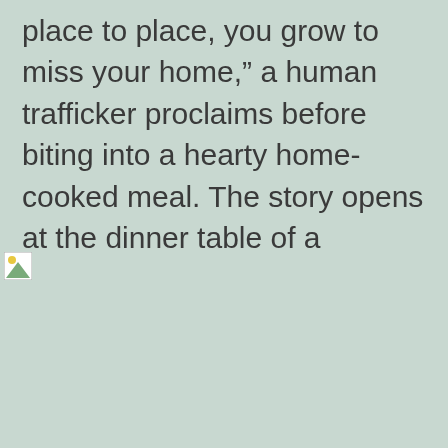place to place, you grow to miss your home,” a human trafficker proclaims before biting into a hearty home-cooked meal. The story opens at the dinner table of a Mexican woman and her teenage daughter, feeding this “coyote,” another word for a trafficker who takes advantage of migrants crossing the border.
[Figure (photo): Broken/unloaded image placeholder in the lower half of the page]